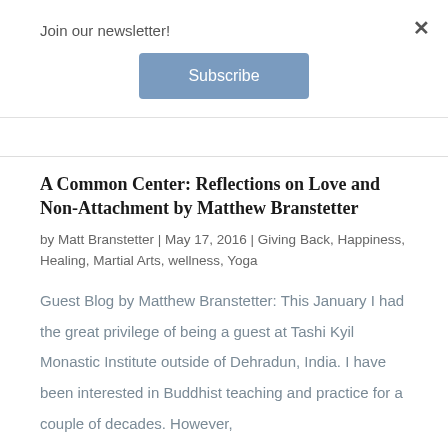Join our newsletter!
Subscribe
A Common Center: Reflections on Love and Non-Attachment by Matthew Branstetter
by Matt Branstetter | May 17, 2016 | Giving Back, Happiness, Healing, Martial Arts, wellness, Yoga
Guest Blog by Matthew Branstetter: This January I had the great privilege of being a guest at Tashi Kyil Monastic Institute outside of Dehradun, India. I have been interested in Buddhist teaching and practice for a couple of decades. However,